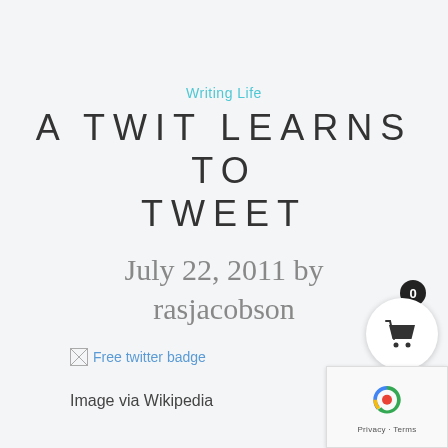Writing Life
A TWIT LEARNS TO TWEET
July 22, 2011 by rasjacobson
[Figure (other): Broken image placeholder for Free twitter badge]
Image via Wikipedia
[Figure (other): Shopping basket UI widget with count badge showing 0]
[Figure (other): Google reCAPTCHA widget with Privacy and Terms links]